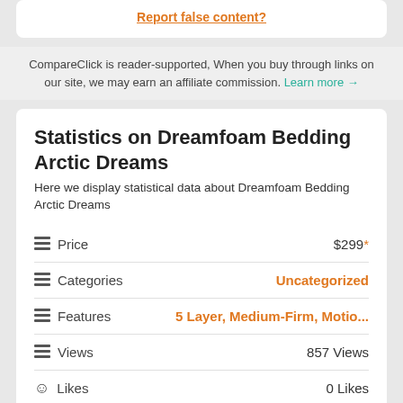Report false content?
CompareClick is reader-supported, When you buy through links on our site, we may earn an affiliate commission. Learn more →
Statistics on Dreamfoam Bedding Arctic Dreams
Here we display statistical data about Dreamfoam Bedding Arctic Dreams
| Field | Value |
| --- | --- |
| Price | $299* |
| Categories | Uncategorized |
| Features | 5 Layer, Medium-Firm, Motio... |
| Views | 857 Views |
| Likes | 0 Likes |
| Specifications | 46/50 |